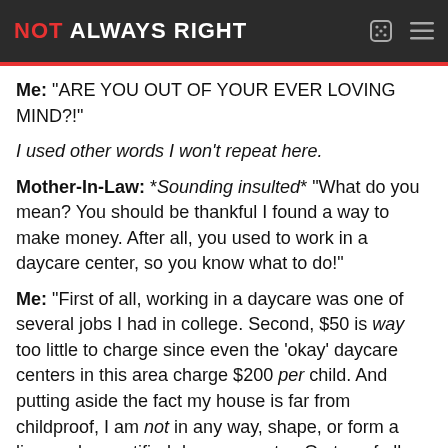NOT ALWAYS RIGHT
Me: "ARE YOU OUT OF YOUR EVER LOVING MIND?!"
I used other words I won't repeat here.
Mother-In-Law: *Sounding insulted* "What do you mean? You should be thankful I found a way to make money. After all, you used to work in a daycare center, so you know what to do!"
Me: "First of all, working in a daycare was one of several jobs I had in college. Second, $50 is way too little to charge since even the 'okay' daycare centers in this area charge $200 per child. And putting aside the fact my house is far from childproof, I am not in any way, shape, or form a licensed or certified daycare center. On top of all that, I don't know how you could possibly think I have the time to watch some strangers'